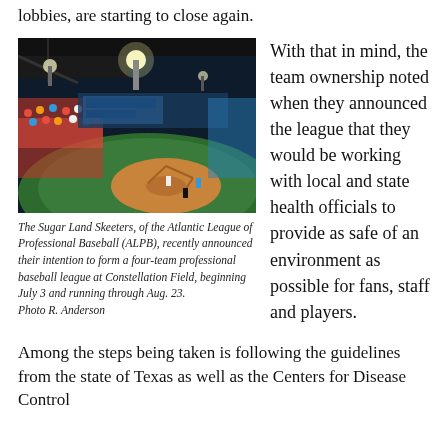lobbies, are starting to close again.
[Figure (photo): Night baseball game at Constellation Field, Sugar Land, Texas. Stadium filled with fans watching a game on a lit field.]
The Sugar Land Skeeters, of the Atlantic League of Professional Baseball (ALPB), recently announced their intention to form a four-team professional baseball league at Constellation Field, beginning July 3 and running through Aug. 23.
Photo R. Anderson
With that in mind, the team ownership noted when they announced the league that they would be working with local and state health officials to provide as safe of an environment as possible for fans, staff and players.
Among the steps being taken is following the guidelines from the state of Texas as well as the Centers for Disease Control